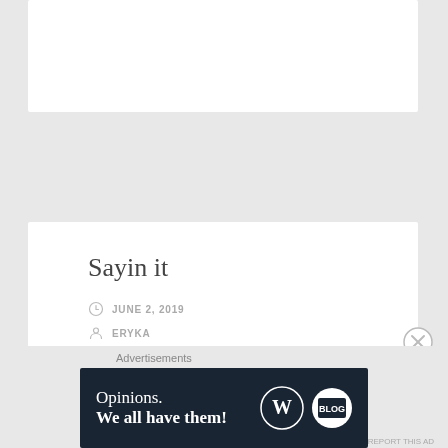Sayin it
JUNE 2, 2019
ERYKA
LEAVE A COMMENT
I find I cannot wait any longer for condition to be perfect for writing. I must write. My right-hand hurts
Advertisements
[Figure (screenshot): Advertisement banner with dark navy background. Text reads 'Opinions. We all have them!' with WordPress logo and another circular logo on the right.]